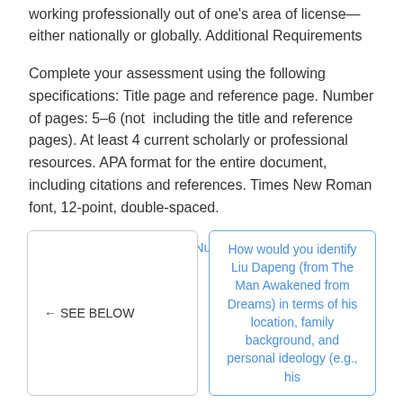working professionally out of one's area of license—either nationally or globally. Additional Requirements
Complete your assessment using the following specifications: Title page and reference page. Number of pages: 5–6 (not including the title and reference pages). At least 4 current scholarly or professional resources. APA format for the entire document, including citations and references. Times New Roman font, 12-point, double-spaced.
Posted in Nursing | Tagged Nursing
← SEE BELOW
How would you identify Liu Dapeng (from The Man Awakened from Dreams) in terms of his location, family background, and personal ideology (e.g., his